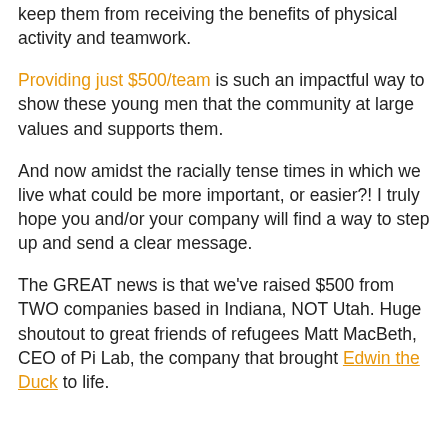keep them from receiving the benefits of physical activity and teamwork.
Providing just $500/team is such an impactful way to show these young men that the community at large values and supports them.
And now amidst the racially tense times in which we live what could be more important, or easier?! I truly hope you and/or your company will find a way to step up and send a clear message.
The GREAT news is that we've raised $500 from TWO companies based in Indiana, NOT Utah. Huge shoutout to great friends of refugees Matt MacBeth, CEO of Pi Lab, the company that brought Edwin the Duck to life.